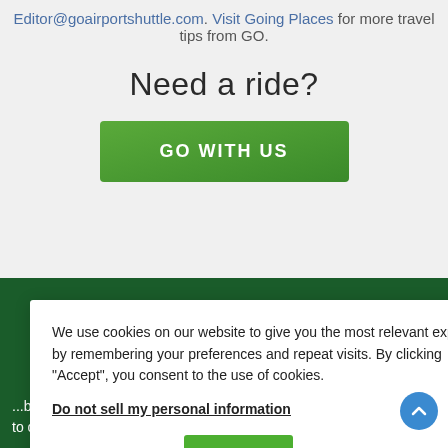Editor@goairportshuttle.com. Visit Going Places for more travel tips from GO.
Need a ride?
[Figure (other): Green 'GO WITH US' call-to-action button]
We use cookies on our website to give you the most relevant experience by remembering your preferences and repeat visits. By clicking “Accept”, you consent to the use of cookies.
Do not sell my personal information
Cookie Settings
Accept
...been transportation to customers worldwide. When you GO with us, you GO